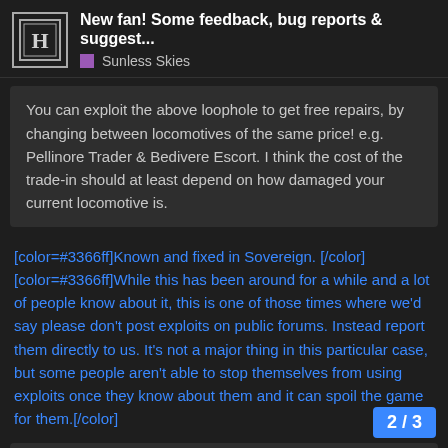New fan! Some feedback, bug reports & suggest... Sunless Skies
You can exploit the above loophole to get free repairs, by changing between locomotives of the same price! e.g. Pellinore Trader & Bedivere Escort. I think the cost of the trade-in should at least depend on how damaged your current locomotive is.
[color=#3366ff]Known and fixed in Sovereign. [/color] [color=#3366ff]While this has been around for a while and a lot of people know about it, this is one of those times where we'd say please don't post exploits on public forums. Instead report them directly to us. It's not a major thing in this particular case, but some people aren't able to stop themselves from using exploits once they know about them and it can spoil the game for them.[/color]
You should not be able to loot wrecks during combat. It doesn't make sense, as the event description for looting mentions actions that would not be possible during combat at all (such as your crew going inside a...
2 / 3